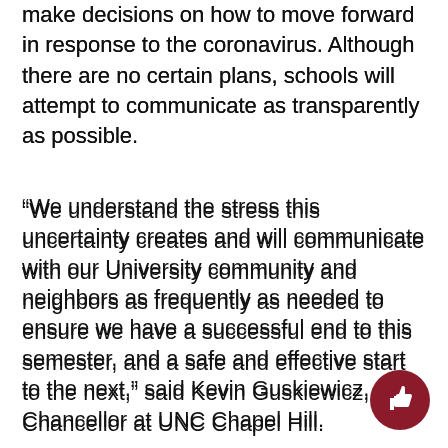make decisions on how to move forward in response to the coronavirus. Although there are no certain plans, schools will attempt to communicate as transparently as possible.
“We understand the stress this uncertainty creates and will communicate with our University community and neighbors as frequently as needed to ensure we have a successful end to this semester, and a safe and effective start to the next,” said Kevin Guskiewicz, Chancellor at UNC Chapel Hill.
Colleges from all across the state have enacted similar protocols. UNC Wilmington’s restrictions follow closely in line with those set at UNC Chapel Hill and many other schools across the state. They also have created mandatory mask requirements, but are slightly more lenient in their enforcement.
“It’s a completely different experience this year